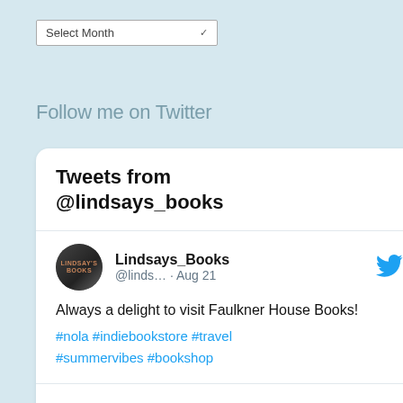Select Month
Follow me on Twitter
[Figure (screenshot): Twitter widget showing tweets from @lindsays_books. Header reads 'Tweets from @lindsays_books'. A tweet from Lindsays_Books (@linds... · Aug 21) says: Always a delight to visit Faulkner House Books! #nola #indiebookstore #travel #summervibes #bookshop. Profile avatar is a dark circular image with 'LINDSAY'S BOOKS' text. Twitter bird icon visible in upper right of tweet.]